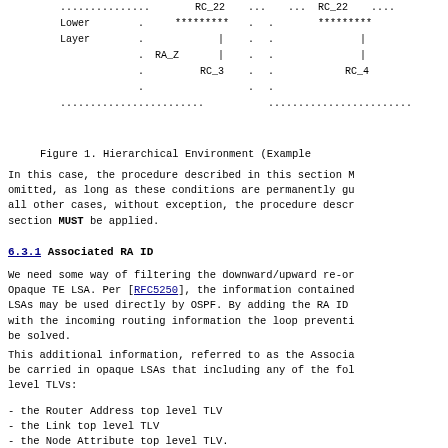[Figure (schematic): Network diagram showing Lower Layer with nodes RA_Z, RC_3, RC_4 connected by dotted lines and asterisk-bordered boxes with vertical lines indicating a hierarchical environment.]
Figure 1. Hierarchical Environment (Example
In this case, the procedure described in this section M omitted, as long as these conditions are permanently gu all other cases, without exception, the procedure descr section MUST be applied.
6.3.1 Associated RA ID
We need some way of filtering the downward/upward re-or Opaque TE LSA. Per [RFC5250], the information contained LSAs may be used directly by OSPF. By adding the RA ID with the incoming routing information the loop preventi be solved.
This additional information, referred to as the Associa be carried in opaque LSAs that including any of the fol level TLVs:
- the Router Address top level TLV
- the Link top level TLV
- the Node Attribute top level TLV.